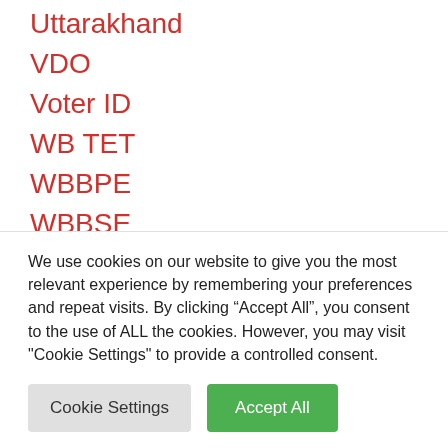Uttarakhand
VDO
Voter ID
WB TET
WBBPE
WBBSE
West Bengal
We use cookies on our website to give you the most relevant experience by remembering your preferences and repeat visits. By clicking “Accept All”, you consent to the use of ALL the cookies. However, you may visit "Cookie Settings" to provide a controlled consent.